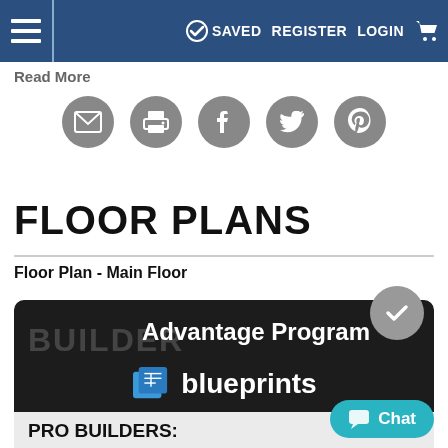≡  SAVED  REGISTER  LOGIN  🛒
Read More
[Figure (infographic): Row of 5 circular social sharing icons: email, print, Facebook, Twitter, Pinterest]
FLOOR PLANS
Floor Plan - Main Floor
[Figure (infographic): Dark promotional box: BUILDER Advantage Program with blueprints icon and checkmark badge]
PRO BUILDERS:
Join the club and save 5% on your first order plus exclusive discounts and more.
JOIN FOR
[Figure (infographic): Teal Chat button in bottom right corner]